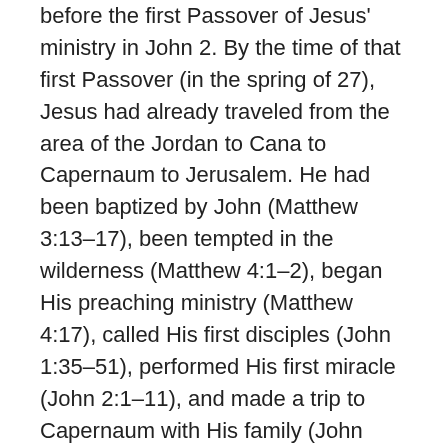before the first Passover of Jesus' ministry in John 2. By the time of that first Passover (in the spring of 27), Jesus had already traveled from the area of the Jordan to Cana to Capernaum to Jerusalem. He had been baptized by John (Matthew 3:13–17), been tempted in the wilderness (Matthew 4:1–2), began His preaching ministry (Matthew 4:17), called His first disciples (John 1:35–51), performed His first miracle (John 2:1–11), and made a trip to Capernaum with His family (John 2:12). All this would have taken several months, at least.
See more: How Far Is It To Memphis, Tn, Driving Time From Wilmington, Nc To Memphis, Tn
Add to that the 40 days between Jesus' resurrection and His ascension (Acts 1:3), and we have a total length of Jesus' earthly ministry. From His baptism to